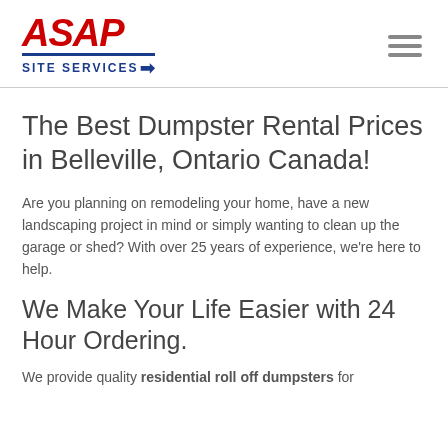[Figure (logo): ASAP Site Services logo with red italic ASAP text and blue SITE SERVICES text with arrow]
The Best Dumpster Rental Prices in Belleville, Ontario Canada!
Are you planning on remodeling your home, have a new landscaping project in mind or simply wanting to clean up the garage or shed? With over 25 years of experience, we're here to help.
We Make Your Life Easier with 24 Hour Ordering.
We provide quality residential roll off dumpsters for